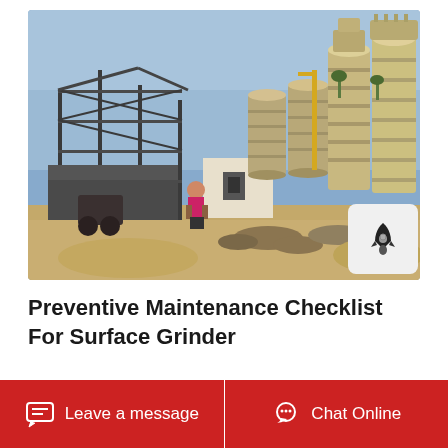[Figure (photo): Construction site with large industrial silos/tanks on the right side, steel frame structure on the left, a small white building in the center, a person in a pink jacket in the foreground, and sandy ground. Clear blue sky in the background.]
Preventive Maintenance Checklist For Surface Grinder
Safety Inspection Checklist Abrasive Wheel Bench
Leave a message   Chat Online